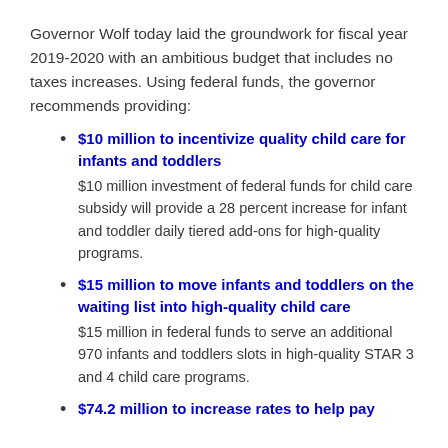Governor Wolf today laid the groundwork for fiscal year 2019-2020 with an ambitious budget that includes no taxes increases. Using federal funds, the governor recommends providing:
$10 million to incentivize quality child care for infants and toddlers — $10 million investment of federal funds for child care subsidy will provide a 28 percent increase for infant and toddler daily tiered add-ons for high-quality programs.
$15 million to move infants and toddlers on the waiting list into high-quality child care — $15 million in federal funds to serve an additional 970 infants and toddlers slots in high-quality STAR 3 and 4 child care programs.
$74.2 million to increase rates to help pay...